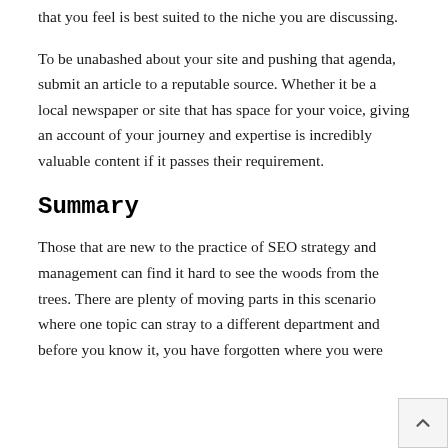that you feel is best suited to the niche you are discussing.
To be unabashed about your site and pushing that agenda, submit an article to a reputable source. Whether it be a local newspaper or site that has space for your voice, giving an account of your journey and expertise is incredibly valuable content if it passes their requirement.
Summary
Those that are new to the practice of SEO strategy and management can find it hard to see the woods from the trees. There are plenty of moving parts in this scenario where one topic can stray to a different department and before you know it, you have forgotten where you were
the...